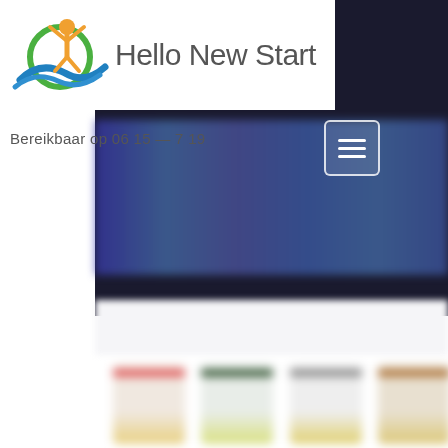[Figure (screenshot): Screenshot of a website called Hello New Start with a logo (colorful figure with green/blue circle and blue wave/hands, orange human figure), site name text, a dark hero section with blurred colorful circular elements, a text reading 'Bereikbaar op 06 15 __ 7 19', a hamburger menu icon in a white-bordered box, a white/light strip, and a blurred product section showing 4 product bottles/containers at the bottom.]